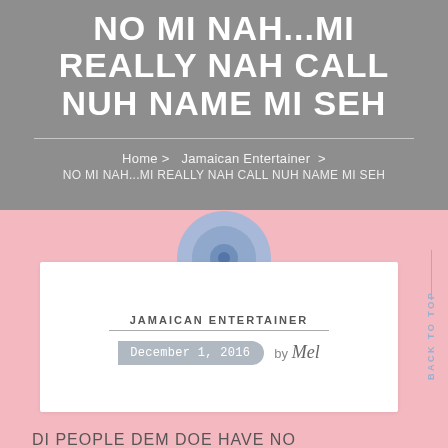NO MI NAH...MI REALLY NAH CALL NUH NAME MI SEH
Home > Jamaican Entertainer > NO MI NAH...MI REALLY NAH CALL NUH NAME MI SEH
[Figure (illustration): Blue circular avatar/profile icon with concentric circles]
JAMAICAN ENTERTAINER
December 1, 2016  by Mel
BACK TO TOP
DI PEOPLE DEM DOE HAVE NO LIGHTTTTTTTTTTTTT NUH LIGHT NUH LIGHT MI MEAN NOOOOOOOOOO LIGHT OOO AND DI BILL